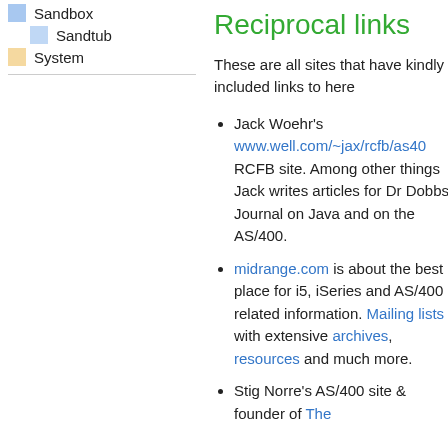Sandbox
Sandtub
System
Reciprocal links
These are all sites that have kindly included links to here
Jack Woehr's www.well.com/~jax/rcfb/as40 RCFB site. Among other things Jack writes articles for Dr Dobbs Journal on Java and on the AS/400.
midrange.com is about the best place for i5, iSeries and AS/400 related information. Mailing lists with extensive archives, resources and much more.
Stig Norre's AS/400 site & founder of The